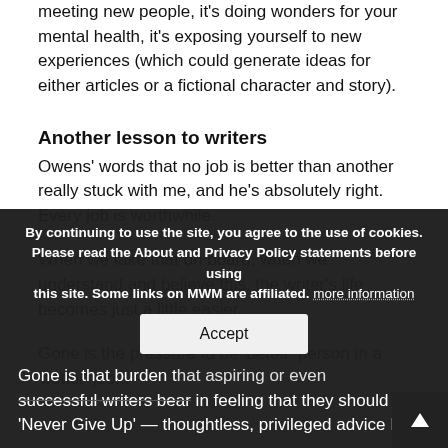meeting new people, it's doing wonders for your mental health, it's exposing yourself to new experiences (which could generate ideas for either articles or a fictional character and story).
Another lesson to writers
Owens' words that no job is better than another really stuck with me, and he's absolutely right. Every job is worthwhile.
When we take that on board, when we understand and believe this, the writer's life becomes just a little easier.
Gone is the pressure to be 'better' person in a 'better' job...
Gone is that burden that aspiring or even successful writers bear in feeling that they should 'Never Give Up' — thoughtless, privileged advice I see
By continuing to use the site, you agree to the use of cookies. Please read the About and Privacy Policy statements before using this site. Some links on MWM are affiliated. more information